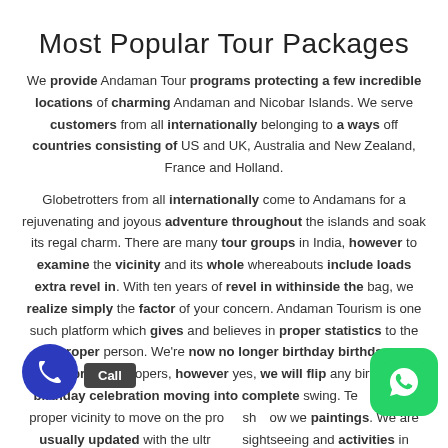Most Popular Tour Packages
We provide Andaman Tour programs protecting a few incredible locations of charming Andaman and Nicobar Islands. We serve customers from all internationally belonging to a ways off countries consisting of US and UK, Australia and New Zealand, France and Holland.
Globetrotters from all internationally come to Andamans for a rejuvenating and joyous adventure throughout the islands and soak its regal charm. There are many tour groups in India, however to examine the vicinity and its whole whereabouts include loads extra revel in. With ten years of revel in withinside the bag, we realize simply the factor of your concern. Andaman Tourism is one such platform which gives and believes in proper statistics to the proper person. We're now no longer birthday birthday celebration poopers, however yes, we will flip any birthday birthday celebration moving into complete swing. Te... im... he proper vicinity to move on the proper sec... sh... ow we paintings. We are usually updated with the ultr... ms sightseeing and activities in Andaman. When you supply the paintings to...